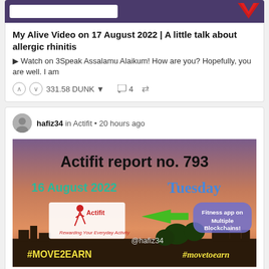[Figure (screenshot): Top banner with purple background, white input box on left and red V logo on right]
My Alive Video on 17 August 2022 | A little talk about allergic rhinitis
▶ Watch on 3Speak Assalamu Alaikum! How are you? Hopefully, you are well. I am
331.58 DUNK  ▼   4   🔁
hafiz34 in Actifit • 20 hours ago
[Figure (infographic): Actifit report no. 793, 16 August 2022, Tuesday, Actifit logo with runner, green arrow, Fitness app on Multiple Blockchains! badge, @hafiz34, #MOVE2EARN, #movetoearn, sunset city background]